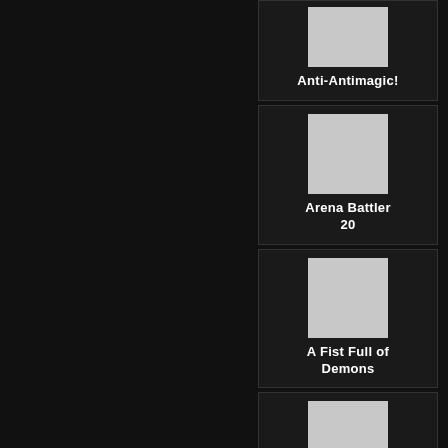[Figure (screenshot): Card with gray placeholder image and title 'Anti-Antimagic!']
[Figure (screenshot): Card with gray placeholder image and title 'Arena Battler 20']
[Figure (screenshot): Card with gray placeholder image and title 'A Fist Full of Demons']
[Figure (screenshot): Card with gray placeholder image and title 'Hell has no fury' (partially visible)]